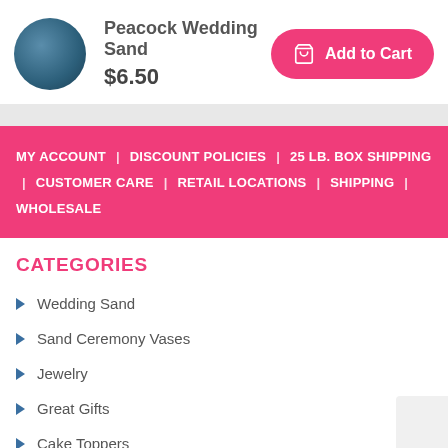[Figure (photo): Dark teal/peacock blue circular product image swatch]
Peacock Wedding Sand
$6.50
Add to Cart
MY ACCOUNT | DISCOUNT POLICIES | 25 LB. BOX SHIPPING | CUSTOMER CARE | RETAIL LOCATIONS | SHIPPING | WHOLESALE
CATEGORIES
Wedding Sand
Sand Ceremony Vases
Jewelry
Great Gifts
Cake Toppers
Toasting Flutes